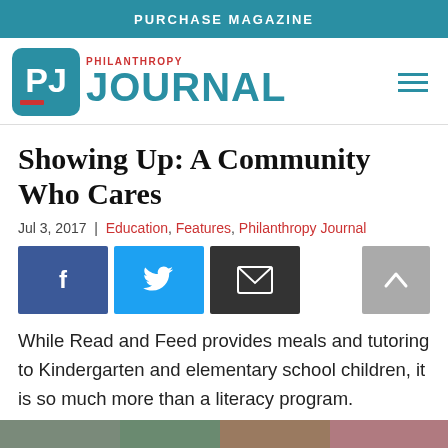PURCHASE MAGAZINE
[Figure (logo): Philanthropy Journal logo with PJ initials in a rounded square and PHILANTHROPY JOURNAL text]
Showing Up: A Community Who Cares
Jul 3, 2017 | Education, Features, Philanthropy Journal
[Figure (infographic): Social sharing buttons: Facebook, Twitter, Email, and scroll-to-top arrow]
While Read and Feed provides meals and tutoring to Kindergarten and elementary school children, it is so much more than a literacy program.
[Figure (photo): Partial photo strip at bottom of page]